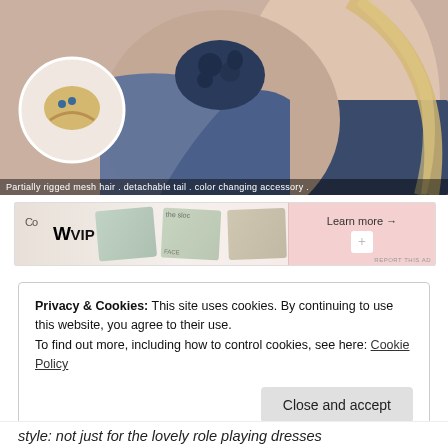[Figure (illustration): Digital illustration showing two women in blue evening gowns from behind, one with an elaborate floral lace shoulder detail and a circular inset showing an updo hairstyle with blue accessories. Caption reads: 'Partially rigged mesh hair . detachable tail . color changing accessory .']
Partially rigged mesh hair . detachable tail . color changing accessory .
[Figure (screenshot): Advertisement banner for WVIP featuring skincare product cards and a 'Learn more →' button on a pink background. Includes 'REPORT THIS AD' label at bottom right.]
Privacy & Cookies: This site uses cookies. By continuing to use this website, you agree to their use.
To find out more, including how to control cookies, see here: Cookie Policy
Close and accept
style: not just for the lovely role playing dresses